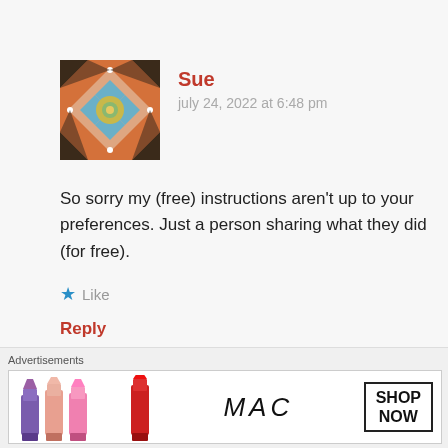[Figure (illustration): Square avatar with geometric quilt/tile pattern in orange, brown, blue, and yellow/green colors]
Sue
july 24, 2022 at 6:48 pm
So sorry my (free) instructions aren't up to your preferences. Just a person sharing what they did (for free).
★ Like
Reply
LEAVE A COMMENT (NO WORRIES, YOUR EMAIL WON'T BE SHARED)
Advertisements
[Figure (photo): MAC cosmetics advertisement showing lipsticks in purple, pink, and red with MAC logo and SHOP NOW button]